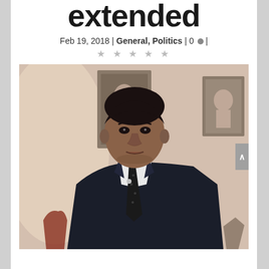extended
Feb 19, 2018 | General, Politics | 0 |
[Figure (photo): A man in a dark suit and patterned tie, seated, with portrait paintings visible on the wall behind him.]